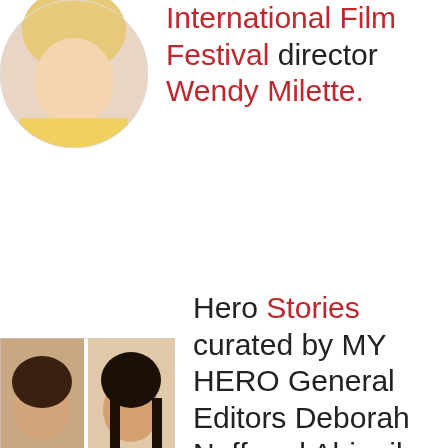[Figure (photo): Circular portrait photo of a woman with blonde hair wearing a yellow top, top-left of page]
International Film Festival director Wendy Milette.
[Figure (photo): Two side-by-side portrait photos of two women — one with short dark hair, one with long dark hair — in the lower-left of the page]
Hero Stories curated by MY HERO General Editors Deborah Neff and Abigail